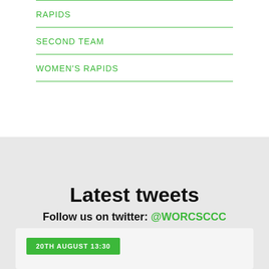RAPIDS
SECOND TEAM
WOMEN'S RAPIDS
Latest tweets
Follow us on twitter: @WORCSCCC
20TH AUGUST 13:30